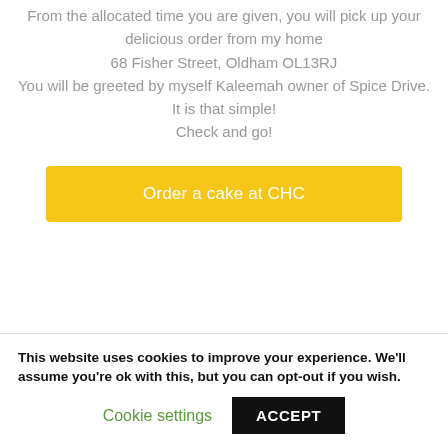From the allocated time you are given, you will pick up your delicious order from my home
68 Fisher Street, Oldham OL13RJ
You will be greeted by myself Kaleemah owner of Spice Drive.
It is that simple!
Check and go!
[Figure (other): Yellow button labeled 'Order a cake at CHC']
This website uses cookies to improve your experience. We'll assume you're ok with this, but you can opt-out if you wish.
Cookie settings
ACCEPT